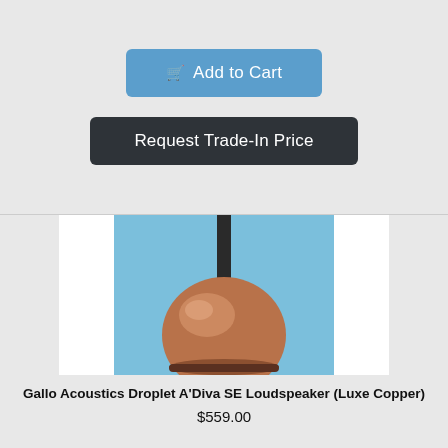Add to Cart
Request Trade-In Price
[Figure (photo): Gallo Acoustics Droplet A'Diva SE Loudspeaker in Luxe Copper finish — a spherical copper-colored speaker hanging from a black cylindrical mount, shown against a light blue background]
Gallo Acoustics Droplet A'Diva SE Loudspeaker (Luxe Copper)
$559.00